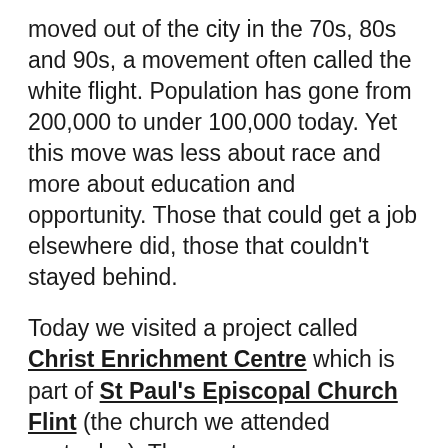moved out of the city in the 70s, 80s and 90s, a movement often called the white flight. Population has gone from 200,000 to under 100,000 today. Yet this move was less about race and more about education and opportunity. Those that could get a job elsewhere did, those that couldn't stayed behind.
Today we visited a project called Christ Enrichment Centre which is part of St Paul's Episcopal Church Flint (the church we attended yesterday). The centre was once an Episcopal church but as folks moved out congregants dwindled and this church was closed. Today it supports those people who have been left behind because they can't get a job elsewhere. For many of these people, they, like a third of the city's adults, are illiterate.
Part of the reason for this with a possibility...